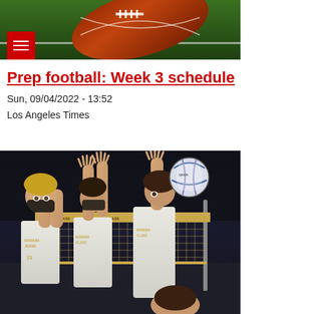[Figure (photo): Football on green grass/turf field close-up]
Prep football: Week 3 schedule
Sun, 09/04/2022 - 13:52
Los Angeles Times
[Figure (photo): Volleyball players blocking at the net, wearing white jerseys with gold text, a volleyball is in the air above the net]